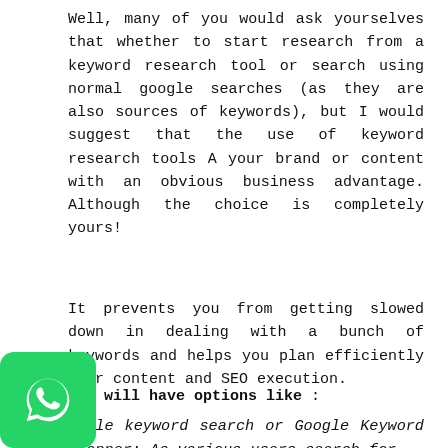Well, many of you would ask yourselves that whether to start research from a keyword research tool or search using normal google searches (as they are also sources of keywords), but I would suggest that the use of keyword research tools A your brand or content with an obvious business advantage. Although the choice is completely yours!
It prevents you from getting slowed down in dealing with a bunch of keywords and helps you plan efficiently your content and SEO execution.
You will have options like :
oogle keyword search or Google Keyword planner: As various users search for
[Figure (logo): WhatsApp green button icon in bottom left corner]